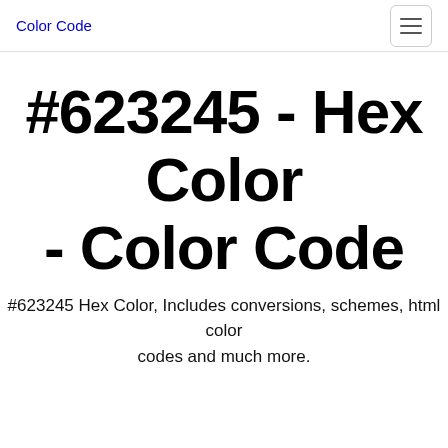Color Code
#623245 - Hex Color - Color Code
#623245 Hex Color, Includes conversions, schemes, html color codes and much more.